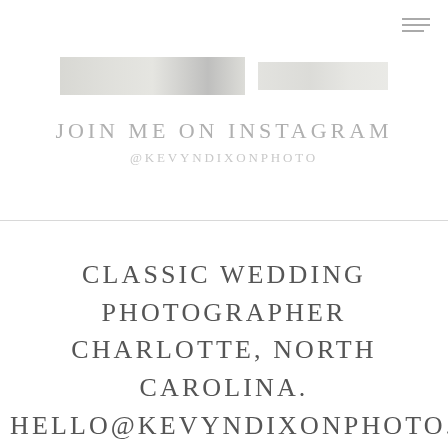[Figure (screenshot): Two faded/blurred horizontal image strips representing Instagram photos]
JOIN ME ON INSTAGRAM
@KEVYNDIXONPHOTO
CLASSIC WEDDING PHOTOGRAPHER CHARLOTTE, NORTH CAROLINA. HELLO@KEVYNDIXONPHOTO.COM